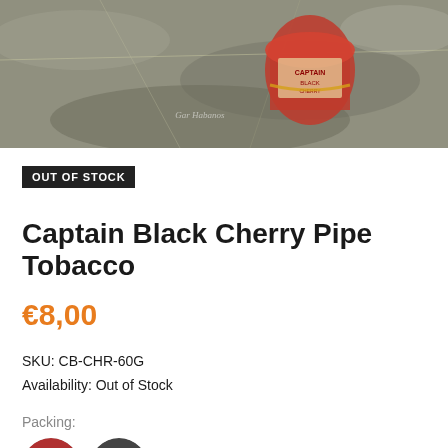[Figure (photo): Product photo of Captain Black Cherry Pipe Tobacco package on rocky surface background]
OUT OF STOCK
Captain Black Cherry Pipe Tobacco
€8,00
SKU: CB-CHR-60G
Availability: Out of Stock
Packing:
[Figure (photo): Two circular thumbnail images of tobacco packing options]